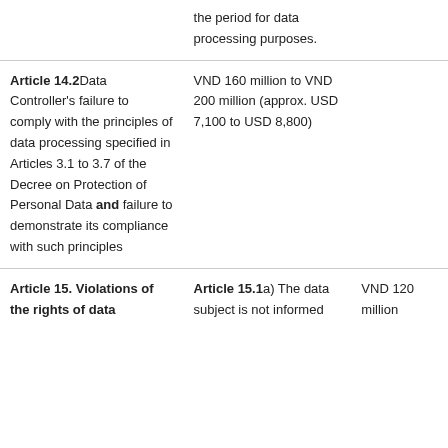| Violation | Penalty | Amount |
| --- | --- | --- |
|  | the period for data processing purposes. |  |
| Article 14.2 Data Controller's failure to comply with the principles of data processing specified in Articles 3.1 to 3.7 of the Decree on Protection of Personal Data and failure to demonstrate its compliance with such principles | VND 160 million to VND 200 million (approx. USD 7,100 to USD 8,800) |  |
| Article 15. Violations of the rights of data | Article 15.1 a) The data subject is not informed | VND 120 million |